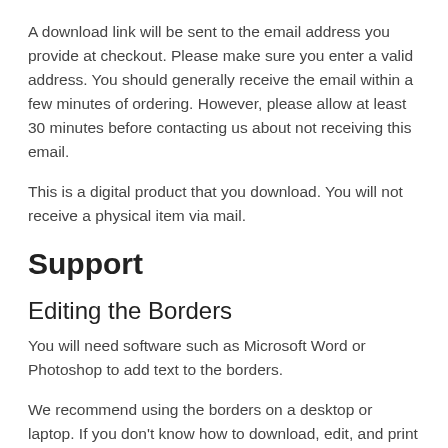A download link will be sent to the email address you provide at checkout. Please make sure you enter a valid address. You should generally receive the email within a few minutes of ordering. However, please allow at least 30 minutes before contacting us about not receiving this email.
This is a digital product that you download. You will not receive a physical item via mail.
Support
Editing the Borders
You will need software such as Microsoft Word or Photoshop to add text to the borders.
We recommend using the borders on a desktop or laptop. If you don't know how to download, edit, and print files on a phone or tablet, the learning curve is going to be steep. We are unable to assist with downloading or using the borders on a mobile